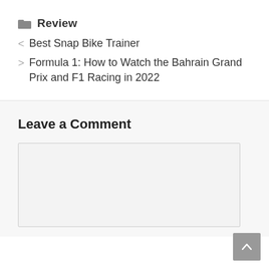📁 Review
< Best Snap Bike Trainer
> Formula 1: How to Watch the Bahrain Grand Prix and F1 Racing in 2022
Leave a Comment